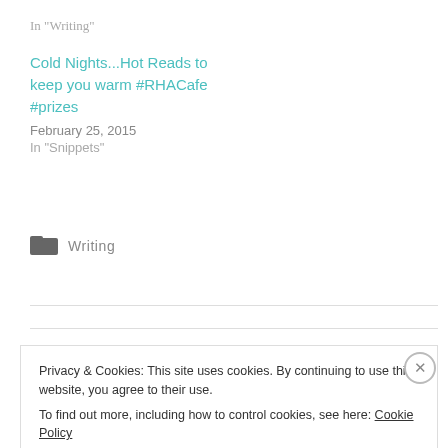In "Writing"
Cold Nights...Hot Reads to keep you warm #RHACafe #prizes
February 25, 2015
In "Snippets"
Writing
Privacy & Cookies: This site uses cookies. By continuing to use this website, you agree to their use. To find out more, including how to control cookies, see here: Cookie Policy
Close and accept